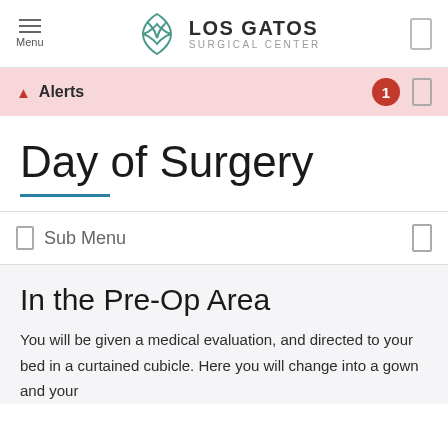Menu | LOS GATOS SURGICAL CENTER
Alerts
Day of Surgery
Sub Menu
In the Pre-Op Area
You will be given a medical evaluation, and directed to your bed in a curtained cubicle. Here you will change into a gown and your